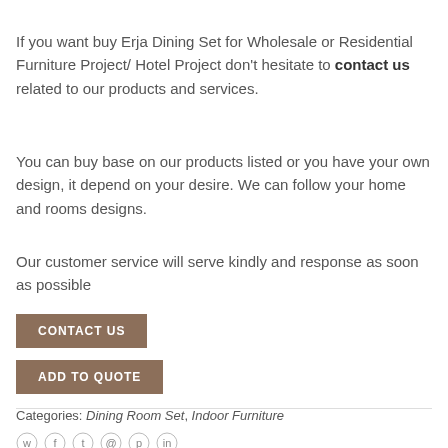If you want buy Erja Dining Set for Wholesale or Residential Furniture Project/ Hotel Project don't hesitate to contact us related to our products and services.
You can buy base on our products listed or you have your own design, it depend on your desire. We can follow your home and rooms designs.
Our customer service will serve kindly and response as soon as possible
CONTACT US
ADD TO QUOTE
Categories: Dining Room Set, Indoor Furniture